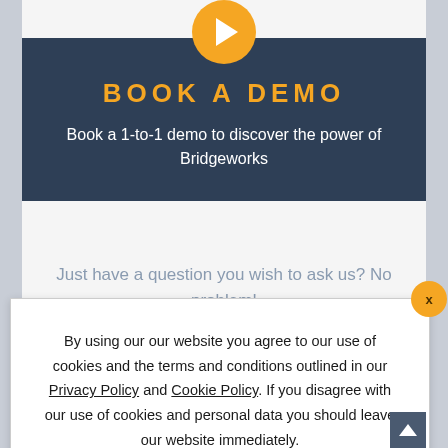BOOK A DEMO
Book a 1-to-1 demo to discover the power of Bridgeworks
Just have a question you wish to ask us? No problem!
By using our our website you agree to our use of cookies and the terms and conditions outlined in our Privacy Policy and Cookie Policy. If you disagree with our use of cookies and personal data you should leave our website immediately.